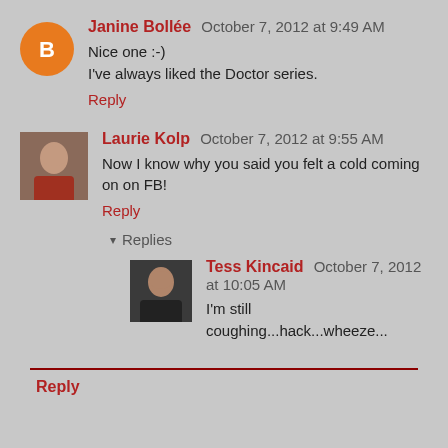Janine Bollée  October 7, 2012 at 9:49 AM
Nice one :-)
I've always liked the Doctor series.
Reply
Laurie Kolp  October 7, 2012 at 9:55 AM
Now I know why you said you felt a cold coming on on FB!
Reply
Replies
Tess Kincaid  October 7, 2012 at 10:05 AM
I'm still coughing...hack...wheeze...
Reply